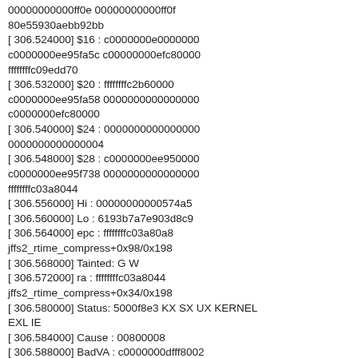00000000000ff0e 00000000000ff0f 80e55930aebb92bb
[ 306.524000] $16 : c0000000e0000000 c0000000ee95fa5c c00000000efc80000 ffffffffc09edd70
[ 306.532000] $20 : ffffffffc2b60000 c0000000ee95fa58 0000000000000000 c0000000efc80000
[ 306.540000] $24 : 0000000000000000 0000000000000004
[ 306.548000] $28 : c0000000ee950000 c0000000ee95f738 0000000000000000 ffffffffc03a8044
[ 306.556000] Hi : 00000000000574a5
[ 306.560000] Lo : 6193b7a7e903d8c9
[ 306.564000] epc : ffffffffc03a80a8 jffs2_rtime_compress+0x98/0x198
[ 306.568000] Tainted: G W
[ 306.572000] ra : ffffffffc03a8044 jffs2_rtime_compress+0x34/0x198
[ 306.580000] Status: 5000f8e3 KX SX UX KERNEL EXL IE
[ 306.584000] Cause : 00800008
[ 306.588000] BadVA : c0000000dfff8002
[ 306.592000] PrId? : 000c1100 (Netlogic XLP)
[ 306.596000] Modules linked in:
[ 306.596000] Process dd (pid: 170,